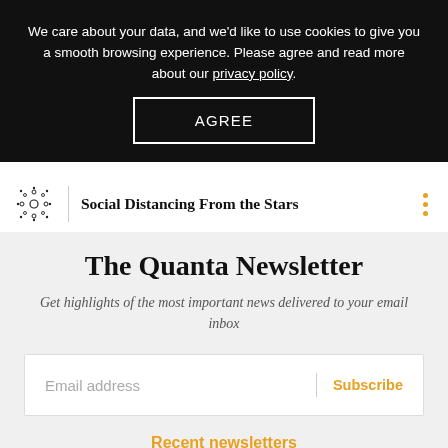We care about your data, and we'd like to use cookies to give you a smooth browsing experience. Please agree and read more about our privacy policy.
AGREE
Social Distancing From the Stars
The Quanta Newsletter
Get highlights of the most important news delivered to your email inbox
Email address
Subscribe
Recent newsletters